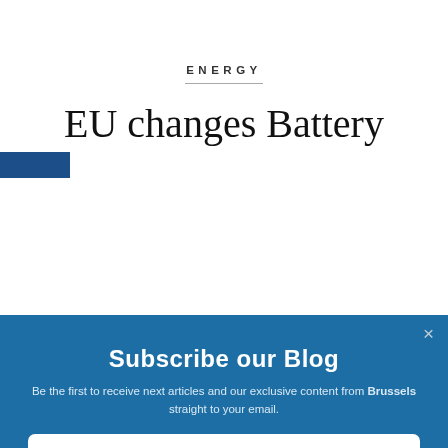ENERGY
EU changes Battery
Subscribe our Blog
Be the first to receive next articles and our exclusive content from Brussels straight to your email.
Enter your name here...
Enter your email here...
You can unsubscribe at any time.
SUBSCRIBE NOW